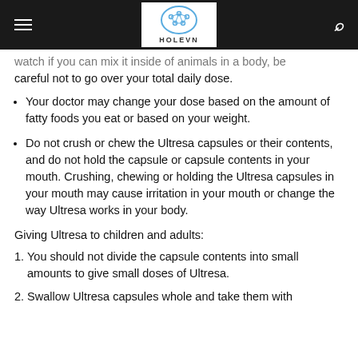HOLEVN (logo)
when if you can mix it inside of animals in a body, be careful not to go over your total daily dose.
Your doctor may change your dose based on the amount of fatty foods you eat or based on your weight.
Do not crush or chew the Ultresa capsules or their contents, and do not hold the capsule or capsule contents in your mouth. Crushing, chewing or holding the Ultresa capsules in your mouth may cause irritation in your mouth or change the way Ultresa works in your body.
Giving Ultresa to children and adults:
You should not divide the capsule contents into small amounts to give small doses of Ultresa.
Swallow Ultresa capsules whole and take them with